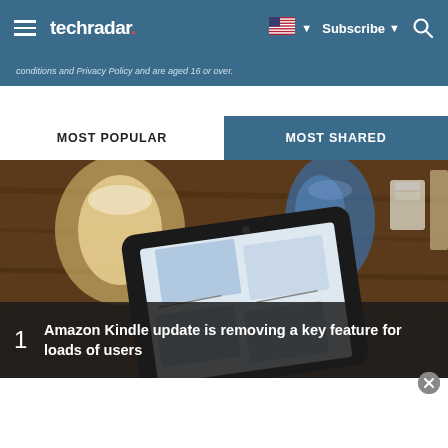techradar. — Subscribe — Search
conditions and Privacy Policy and are aged 16 or over.
MOST POPULAR
MOST SHARED
[Figure (photo): A Kindle e-reader device lying on a wooden table with decorative glass jars in the background, displaying a library or content page on its screen.]
Amazon Kindle update is removing a key feature for loads of users